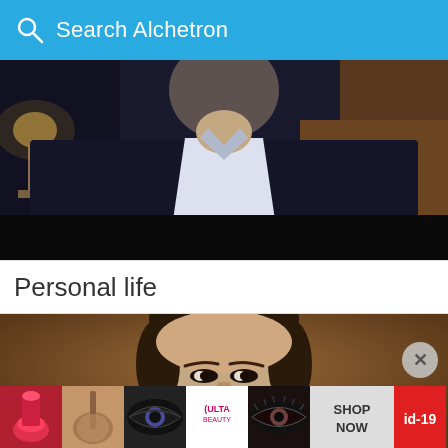Search Alchetron
[Figure (photo): Man in dark suit with white shirt, seated, partial view from chest up, lamp visible in background, dark lower band]
Personal life
[Figure (photo): Close-up portrait of a man with dark hair against a brown background, looking at camera]
[Figure (photo): Advertisement banner strip with makeup/beauty images (lipstick, brush, eye makeup, Ulta Beauty logo, eye makeup), SHOP NOW text, and id-19 badge]